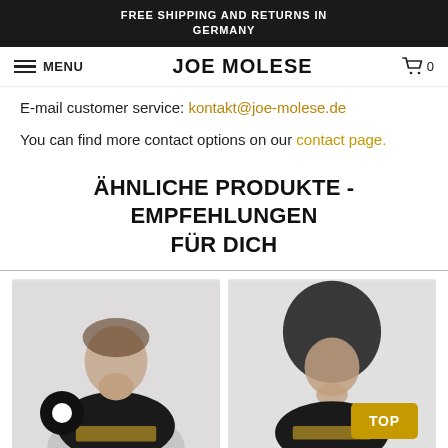FREE SHIPPING AND RETURNS IN GERMANY
JOE MOLESE
E-mail customer service: kontakt@joe-molese.de
You can find more contact options on our contact page.
ÄHNLICHE PRODUKTE - EMPFEHLUNGEN FÜR DICH
[Figure (photo): Person wearing a black t-shirt with gold text, light gray background]
[Figure (photo): Person with large afro hairstyle wearing a black t-shirt with gold text, light gray background]